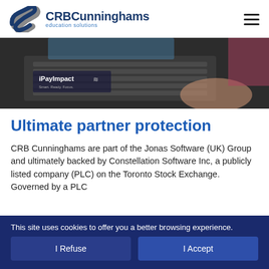CRB Cunninghams education solutions
[Figure (screenshot): A hero banner image showing a laptop with iPayImpact branding, featuring hands on a keyboard in a dark-toned setting.]
Ultimate partner protection
CRB Cunninghams are part of the Jonas Software (UK) Group and ultimately backed by Constellation Software Inc, a publicly listed company (PLC) on the Toronto Stock Exchange. Governed by a PLC governance that CRB Cunninghams are fully audited to
This site uses cookies to offer you a better browsing experience.